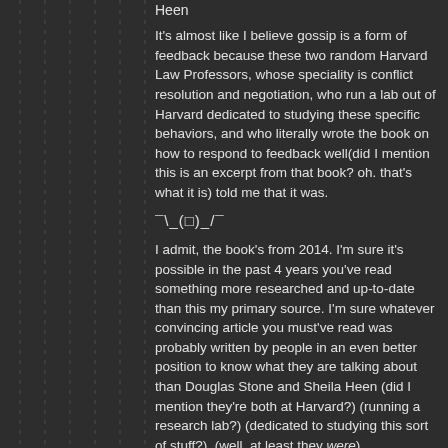Heen
It's almost like I believe gossip is a form of feedback because these two random Harvard Law Professors, whose speciality is conflict resolution and negotiation, who run a lab out of Harvard dedicated to studying these specific behaviors, and who literally wrote the book on how to respond to feedback well(did I mention this is an excerpt from that book? oh. that's what it is) told me that it was.
¯\_(□)_/¯
I admit, the book's from 2014. I'm sure it's possible in the past 4 years you've read something more researched and up-to-date than this my primary source. I'm sure whatever convincing article you must've read was probably written by people in an even better position to know what they are talking about than Douglas Stone and Sheila Heen (did I mention they're both at Harvard?) (running a research lab?) (dedicated to studying this sort of stuff?). (well, at least they were)
I'd love to learn more, if you've got any non-paywall links to the peer-reviewed and